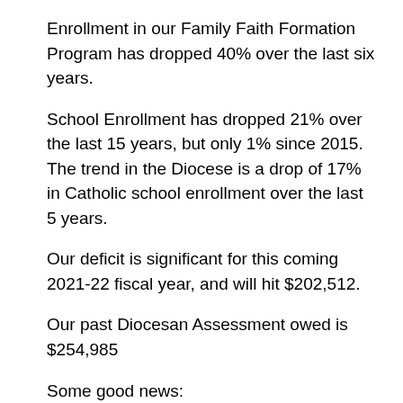Enrollment in our Family Faith Formation Program has dropped 40% over the last six years.
School Enrollment has dropped 21% over the last 15 years, but only 1% since 2015. The trend in the Diocese is a drop of 17% in Catholic school enrollment over the last 5 years.
Our deficit is significant for this coming 2021-22 fiscal year, and will hit $202,512.
Our past Diocesan Assessment owed is $254,985
Some good news:
Giving Tuesday helped to raise $36,662 for specific projects at St. Mary's and to relieve the deficit.
Our school is open for 5 day a week in person